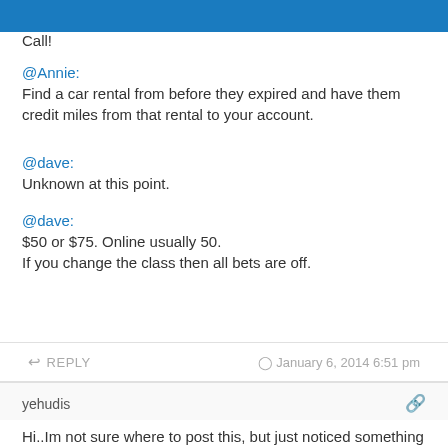DansDeals
Call!
@Annie:
Find a car rental from before they expired and have them credit miles from that rental to your account.
@dave:
Unknown at this point.
@dave:
$50 or $75. Online usually 50.
If you change the class then all bets are off.
REPLY    January 6, 2014 6:51 pm
yehudis
Hi..Im not sure where to post this, but just noticed something on AA's website which I thought I would pass along. The AA cc offer is normally 30K AA miles, but I noticed when I logged in, the offer increased to 50K AA miles.